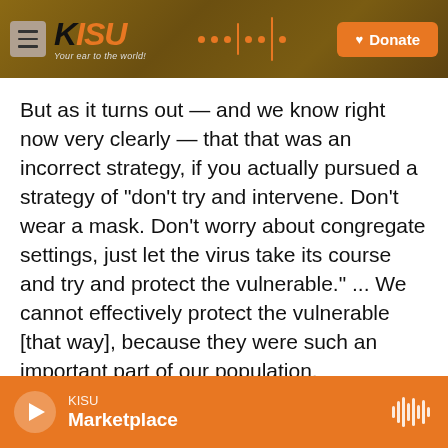KISU — Your ear to the world | Donate
But as it turns out — and we know right now very clearly — that that was an incorrect strategy, if you actually pursued a strategy of "don't try and intervene. Don't wear a mask. Don't worry about congregate settings, just let the virus take its course and try and protect the vulnerable." ... We cannot effectively protect the vulnerable [that way], because they were such an important part of our population.
So if you look at the number of people right now who have died, it's close to 450,000 people. And if
KISU  Marketplace